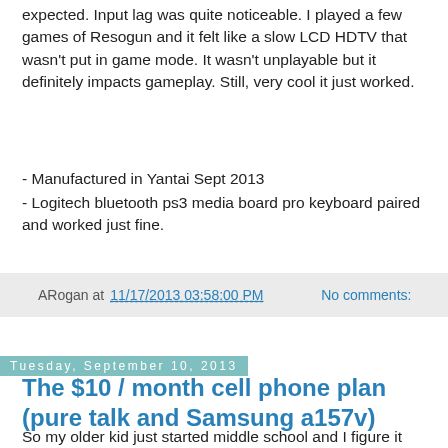expected.  Input lag was quite noticeable.  I played a few games of Resogun and it felt like a slow LCD HDTV that wasn't put in game mode.  It wasn't unplayable but it definitely impacts gameplay.  Still, very cool it just worked.
- Manufactured in Yantai Sept 2013
- Logitech bluetooth ps3 media board pro keyboard paired and worked just fine.
ARogan at 11/17/2013 03:58:00 PM    No comments:
Tuesday, September 10, 2013
The $10 / month cell phone plan (pure talk and Samsung a157v)
So my older kid just started middle school and I figure it was time to get him an actual working phone.  For the past year he's been using my old iPhone 4 (at&t model) like an ipod touch (no call capabilities).  I did some research and wanted the cheapest plan possible with voice and some texting.  At this point I don't think he needs any kind of data plan yet